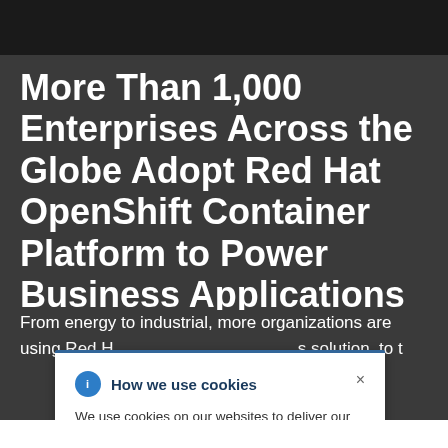More Than 1,000 Enterprises Across the Globe Adopt Red Hat OpenShift Container Platform to Power Business Applications
From energy to industrial, more organizations are using Red Hat … s solution, to t…
How we use cookies
We use cookies on our websites to deliver our online services. Details about how we use cookies and how you may disable them are set out in our Privacy Statement. By using this website you agree to our use of cookies.